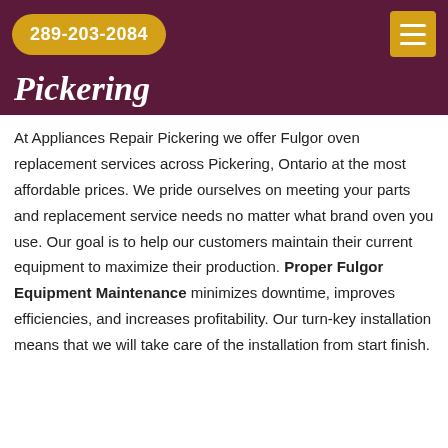289-203-2084
Pickering
At Appliances Repair Pickering we offer Fulgor oven replacement services across Pickering, Ontario at the most affordable prices. We pride ourselves on meeting your parts and replacement service needs no matter what brand oven you use. Our goal is to help our customers maintain their current equipment to maximize their production. Proper Fulgor Equipment Maintenance minimizes downtime, improves efficiencies, and increases profitability. Our turn-key installation means that we will take care of the installation from start finish.